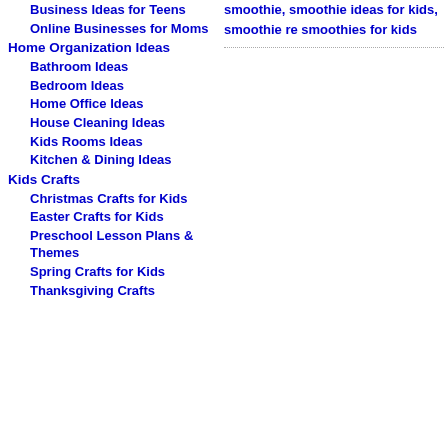Business Ideas for Teens
Online Businesses for Moms
Home Organization Ideas
Bathroom Ideas
Bedroom Ideas
Home Office Ideas
House Cleaning Ideas
Kids Rooms Ideas
Kitchen & Dining Ideas
Kids Crafts
Christmas Crafts for Kids
Easter Crafts for Kids
Preschool Lesson Plans & Themes
Spring Crafts for Kids
Thanksgiving Crafts
smoothie, smoothie ideas for kids, smoothie re smoothies for kids